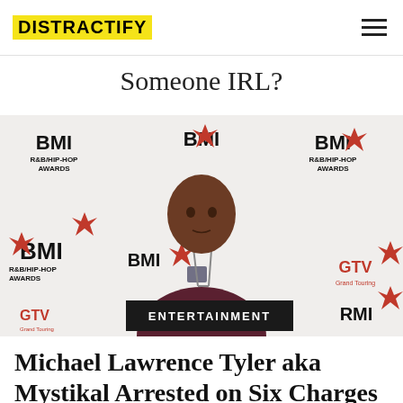DISTRACTIFY
Someone IRL?
[Figure (photo): Man in dark red t-shirt with chain necklace standing in front of BMI R&B/Hip-Hop Awards step-and-repeat banner with GTV Grand Touring logos]
ENTERTAINMENT
Michael Lawrence Tyler aka Mystikal Arrested on Six Charges Including False